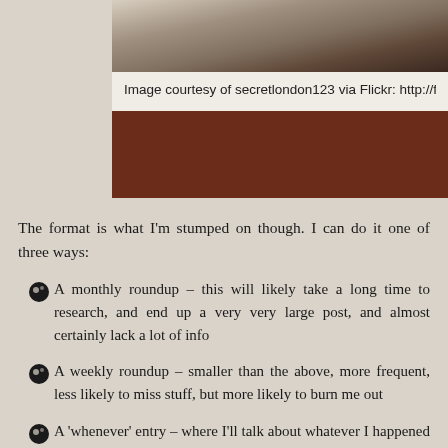[Figure (photo): Partial photo of objects on a surface, cropped at top]
Image courtesy of secretlondon123 via Flickr: http://flic.k...
The format is what I'm stumped on though. I can do it one of three ways:
A monthly roundup – this will likely take a long time to research, and end up a very very large post, and almost certainly lack a lot of info
A weekly roundup – smaller than the above, more frequent, less likely to miss stuff, but more likely to burn me out
A 'whenever' entry – where I'll talk about whatever I happened to stumble upon in my time travelling adventures
I personally like the third one, but what do other people think would work best?